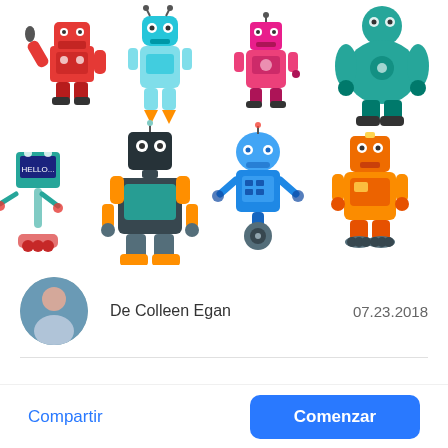[Figure (illustration): Grid of 8 colorful cartoon robots in two rows of 4. Row 1: red robot waving wrench, teal rocket robot, pink/magenta small robot, large teal muscular robot. Row 2: teal robot with hello sign, dark teal/orange robot, blue robot on wheel, orange robot.]
De Colleen Egan    07.23.2018
Compartir
Comenzar